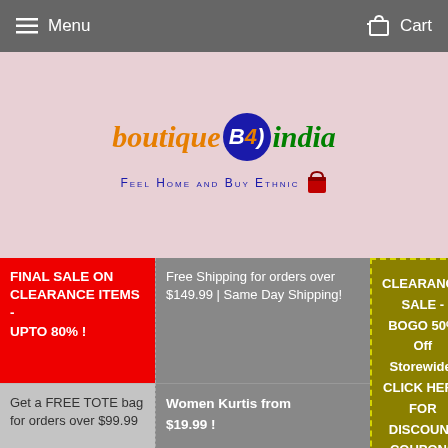≡  Menu    Cart
[Figure (logo): boutiqueB4india logo with tagline 'Feel Home and Buy Ethnic' and a red shopping bag icon, on a pink background]
FINAL SALE ON CLEARANCE ITEMS - UPTO 80% !
Free Shipping for orders over $149.99 | Same Day Shipping!
CLEARANCE SALE - BOGO 50% Off Storewide! CLICK HERE FOR DISCOUNT COUPONS
Get a FREE TOTE bag for orders over $99.99
Women Kurtis from $19.99 !
Home  ›  Sarees - Blue, Red And Golden Net and Chi...